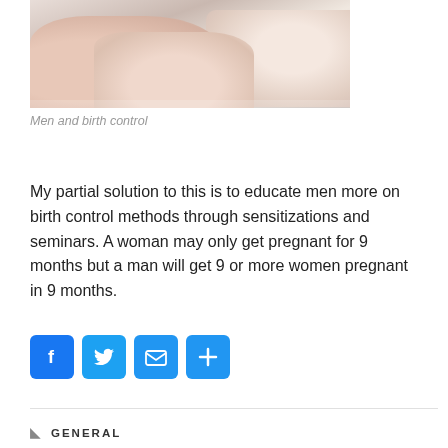[Figure (photo): Close-up photo of hands and an arm, suggesting a medical/birth control context]
Men and birth control
My partial solution to this is to educate men more on birth control methods through sensitizations and seminars. A woman may only get pregnant for 9 months but a man will get 9 or more women pregnant in 9 months.
[Figure (infographic): Social share buttons: Facebook, Twitter, Email, More]
GENERAL